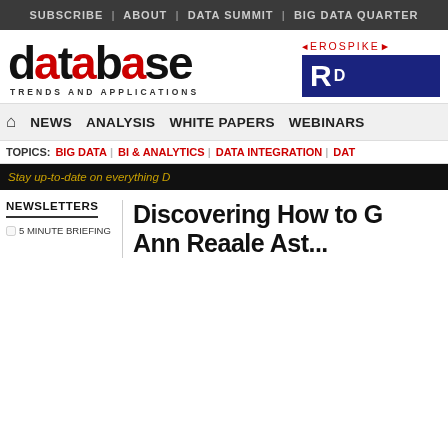SUBSCRIBE | ABOUT | DATA SUMMIT | BIG DATA QUARTER
[Figure (logo): Database Trends and Applications logo with red stylized text]
[Figure (logo): Aerospike advertisement banner with blue background]
NEWS | ANALYSIS | WHITE PAPERS | WEBINARS
TOPICS: BIG DATA | BI & ANALYTICS | DATA INTEGRATION | DAT...
Stay up-to-date on everything D
NEWSLETTERS
5 MINUTE BRIEFING
Discovering How to G
Ann Daaale Ast...